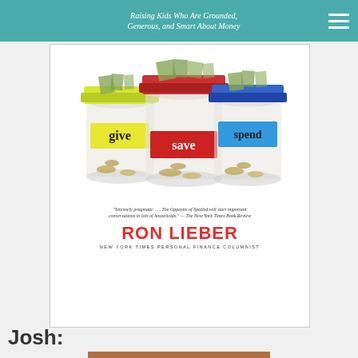Raising Kids Who Are Grounded, Generous, and Smart About Money
[Figure (photo): Book cover of 'The Opposite of Spoiled' by Ron Lieber, showing three glass mason jars labeled 'give' (yellow label), 'save' (red label), and 'spend' (blue label) filled with coins and bills. Quote reads: 'Intensely pragmatic... The Opposite of Spoiled will start important conversations in lots of households.' —The New York Times Book Review. Author: RON LIEBER, NEW YORK TIMES PERSONAL FINANCE COLUMNIST.]
Josh: